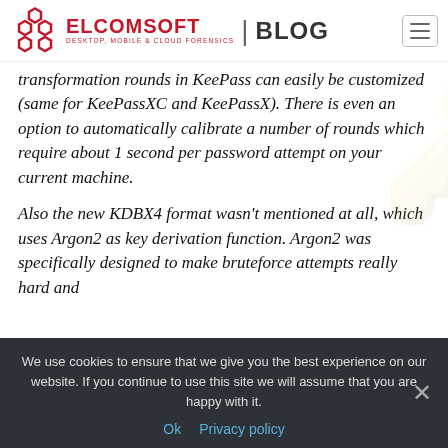ELCOMSOFT | BLOG — DESKTOP, MOBILE & CLOUD FORENSICS
transformation rounds in KeePass can easily be customized (same for KeePassXC and KeePassX). There is even an option to automatically calibrate a number of rounds which require about 1 second per password attempt on your current machine.
Also the new KDBX4 format wasn't mentioned at all, which uses Argon2 as key derivation function. Argon2 was specifically designed to make bruteforce attempts really hard and
We use cookies to ensure that we give you the best experience on our website. If you continue to use this site we will assume that you are happy with it.
Ok
Privacy policy